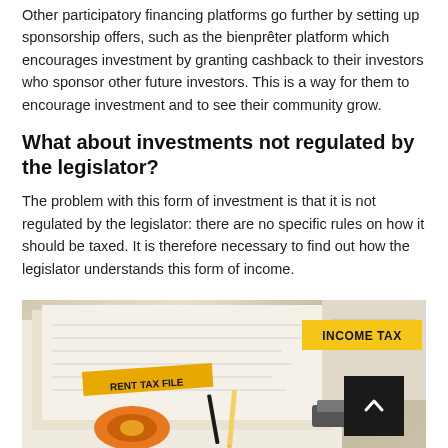Other participatory financing platforms go further by setting up sponsorship offers, such as the bienprêter platform which encourages investment by granting cashback to their investors who sponsor other future investors. This is a way for them to encourage investment and to see their community grow.
What about investments not regulated by the legislator?
The problem with this form of investment is that it is not regulated by the legislator: there are no specific rules on how it should be taxed. It is therefore necessary to find out how the legislator understands this form of income.
[Figure (photo): Photo of income tax and rent tax file documents on a desk with stationery items including an orange tape dispenser, pen, pencil, and stapler.]